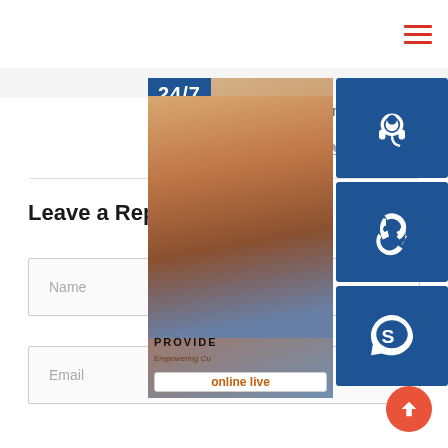[Figure (screenshot): Navigation bar with hamburger menu icon (three red horizontal lines) in top right corner]
Lily and 6000 people like
[Figure (infographic): Social media icons row: Facebook, Twitter, Dribbble, Behance]
Leave a Reply
Name
Email
[Figure (infographic): Customer support widget overlay showing a woman with headset, 24/7 badge, PROVIDE / Empowering Cu text, online live button, and three blue icon boxes: headset/support, phone, Skype]
[Figure (infographic): Scroll-to-top red circular button with upward arrow]